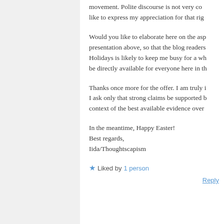movement. Polite discourse is not very co... like to express my appreciation for that rig...
Would you like to elaborate here on the asp... presentation above, so that the blog readers... Holidays is likely to keep me busy for a wh... be directly available for everyone here in th...
Thanks once more for the offer. I am truly i... I ask only that strong claims be supported b... context of the best available evidence over...
In the meantime, Happy Easter!
Best regards,
Iida/Thoughtscapism
Liked by 1 person
Reply